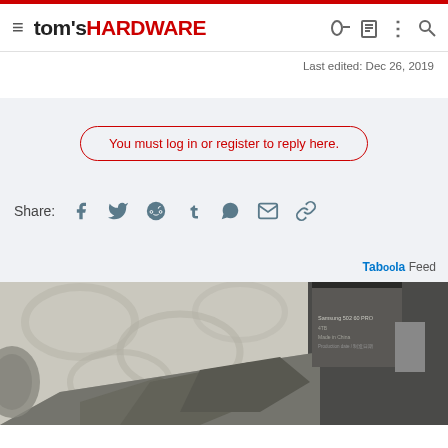tom's HARDWARE
Last edited: Dec 26, 2019
You must log in or register to reply here.
Share:
Taboola Feed
[Figure (photo): Decorative tabletop surface with patterned fabric and stone/slate material, with a dark product box visible on the right side]